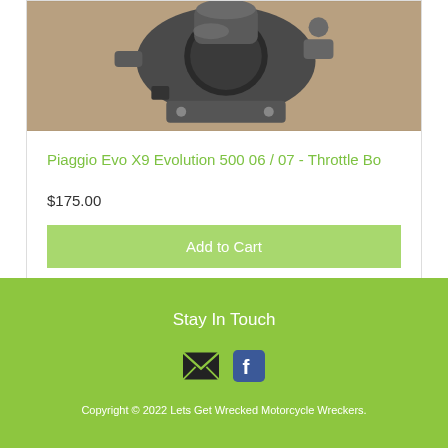[Figure (photo): Close-up photo of a motorcycle throttle body part, metallic, on a tan/brown surface]
Piaggio Evo X9 Evolution 500 06 / 07 - Throttle Bo
$175.00
Add to Cart
Stay In Touch
[Figure (infographic): Email envelope icon and Facebook icon]
Copyright © 2022 Lets Get Wrecked Motorcycle Wreckers.